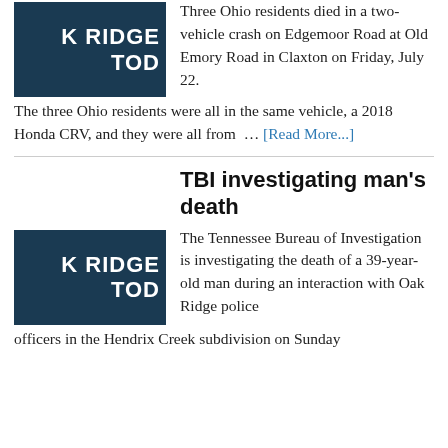[Figure (logo): Oak Ridge Tod placeholder logo thumbnail, dark blue background with white bold text 'K RIDGE TOD']
Three Ohio residents died in a two-vehicle crash on Edgemoor Road at Old Emory Road in Claxton on Friday, July 22. The three Ohio residents were all in the same vehicle, a 2018 Honda CRV, and they were all from … [Read More...]
TBI investigating man's death
[Figure (logo): Oak Ridge Tod placeholder logo thumbnail, dark blue background with white bold text 'K RIDGE TOD']
The Tennessee Bureau of Investigation is investigating the death of a 39-year-old man during an interaction with Oak Ridge police officers in the Hendrix Creek subdivision on Sunday